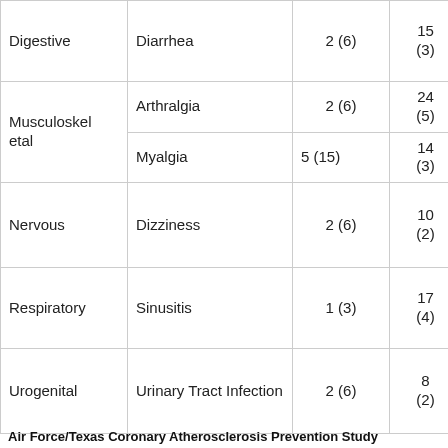| Digestive | Diarrhea | 2 (6) | 15
(3) | 8
(2) |
| Musculoskeletal | Arthralgia | 2 (6) | 24
(5) | 20
(6) |
| Musculoskeletal | Myalgia | 5 (15) | 14
(3) | 11
(3) |
| Nervous | Dizziness | 2 (6) | 10
(2) | 5
(2) |
| Respiratory | Sinusitis | 1 (3) | 17
(4) | 20
(6) |
| Urogenital | Urinary Tract Infection | 2 (6) | 8
(2) | 9
(3) |
Air Force/Texas Coronary Atherosclerosis Prevention Study